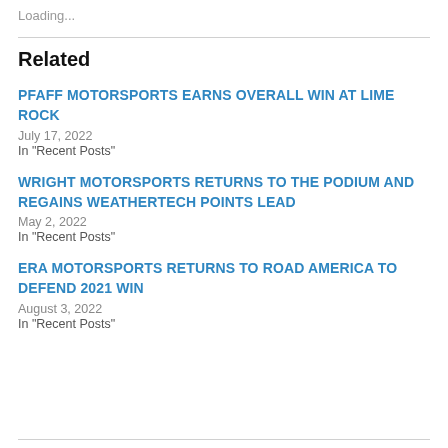Loading...
Related
PFAFF MOTORSPORTS EARNS OVERALL WIN AT LIME ROCK
July 17, 2022
In "Recent Posts"
WRIGHT MOTORSPORTS RETURNS TO THE PODIUM AND REGAINS WEATHERTECH POINTS LEAD
May 2, 2022
In "Recent Posts"
ERA MOTORSPORTS RETURNS TO ROAD AMERICA TO DEFEND 2021 WIN
August 3, 2022
In "Recent Posts"